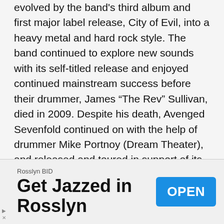evolved by the band's third album and first major label release, City of Evil, into a heavy metal and hard rock style. The band continued to explore new sounds with its self-titled release and enjoyed continued mainstream success before their drummer, James “The Rev” Sullivan, died in 2009. Despite his death, Avenged Sevenfold continued on with the help of drummer Mike Portnoy (Dream Theater), and released and toured in support of its fifth album Nightmare in 2010, which debuted on the top spot of the Billboard 200, Avenged Sevenfold’s first number one debut.

In 2011 drummer Arin Ilejay joined the band on tours and recording. Avenged Sevenfold’s sixth studio album Hail to
[Figure (other): Advertisement banner for Rosslyn BID: 'Get Jazzed in Rosslyn' with an OPEN button]